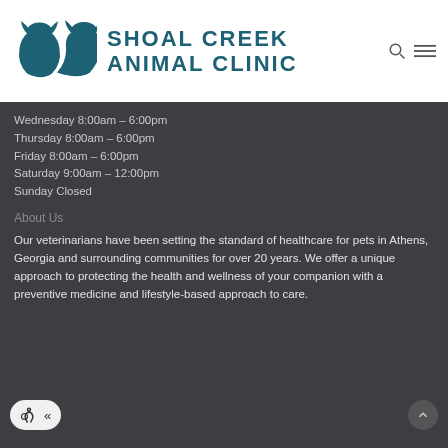[Figure (logo): Shoal Creek Animal Clinic logo with stylized cat and dog silhouettes in teal, followed by the clinic name in teal capital letters]
Wednesday 8:00am – 6:00pm
Thursday 8:00am – 6:00pm
Friday 8:00am – 6:00pm
Saturday 9:00am – 12:00pm
Sunday Closed
About Us
Our veterinarians have been setting the standard of healthcare for pets in Athens, Georgia and surrounding communities for over 20 years. We offer a unique approach to protecting the health and wellness of your companion with a preventive medicine and lifestyle-based approach to care.